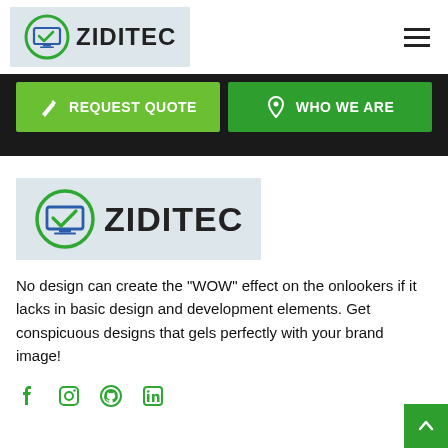[Figure (logo): Ziditec logo with monitor/checkmark icon in circular green border followed by bold text ZIDITEC]
[Figure (infographic): Navigation buttons: REQUEST QUOTE (light green) with pen icon, WHO WE ARE (dark green) with location pin icon, on dark background]
[Figure (logo): Larger Ziditec logo with monitor/checkmark icon in circular green border followed by bold text ZIDITEC on light gray background]
No design can create the "WOW" effect on the onlookers if it lacks in basic design and development elements. Get conspicuous designs that gels perfectly with your brand image!
[Figure (infographic): Social media icons row: Facebook, Instagram, GitHub, LinkedIn in green color]